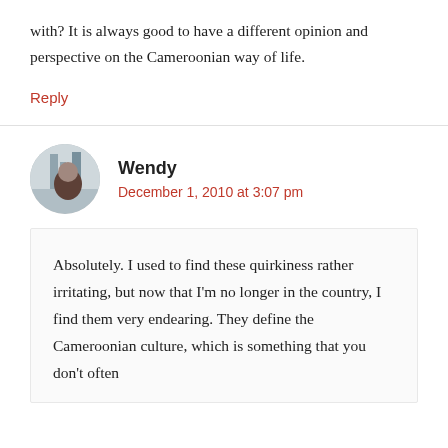with? It is always good to have a different opinion and perspective on the Cameroonian way of life.
Reply
Wendy
December 1, 2010 at 3:07 pm
Absolutely. I used to find these quirkiness rather irritating, but now that I'm no longer in the country, I find them very endearing. They define the Cameroonian culture, which is something that you don't often